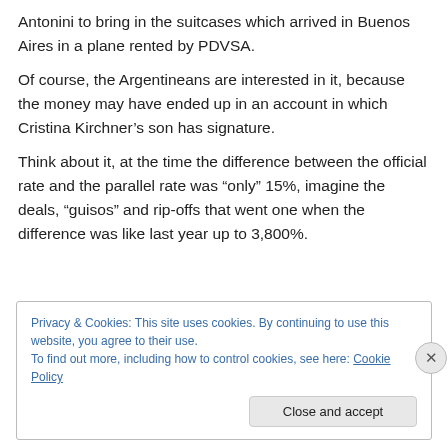Antonini to bring in the suitcases which arrived in Buenos Aires in a plane rented by PDVSA.
Of course, the Argentineans are interested in it, because the money may have ended up in an account in which Cristina Kirchner’s son has signature.
Think about it, at the time the difference between the official rate and the parallel rate was “only” 15%, imagine the deals, “guisos” and rip-offs that went one when the difference was like last year up to 3,800%.
Privacy & Cookies: This site uses cookies. By continuing to use this website, you agree to their use.
To find out more, including how to control cookies, see here: Cookie Policy